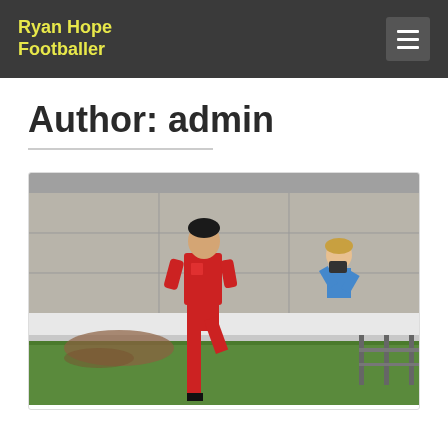Ryan Hope Footballer
Author: admin
[Figure (photo): A footballer in a red kit running on a pitch, with a woman in a blue top visible in the background near a concrete wall.]